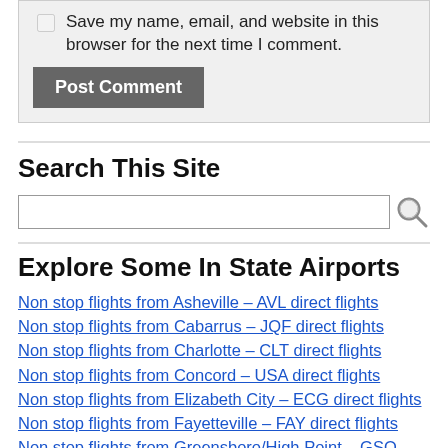Save my name, email, and website in this browser for the next time I comment.
Post Comment
Search This Site
Explore Some In State Airports
Non stop flights from Asheville – AVL direct flights
Non stop flights from Cabarrus – JQF direct flights
Non stop flights from Charlotte – CLT direct flights
Non stop flights from Concord – USA direct flights
Non stop flights from Elizabeth City – ECG direct flights
Non stop flights from Fayetteville – FAY direct flights
Non stop flights from Greensboro/High Point – GSO direct flights
Non stop flights from Greenville – PGV direct flights